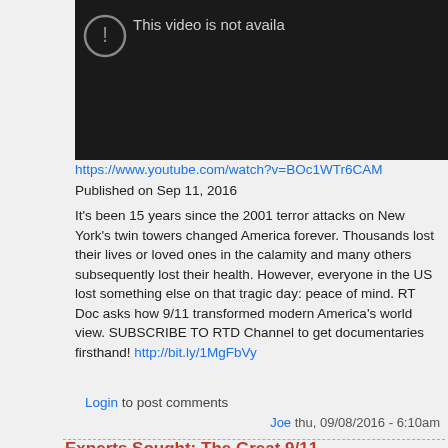[Figure (screenshot): YouTube video player showing unavailable video with dark background and text 'This video is not available']
https://www.youtube.com/watch?v=BOc1WTr6CAM
Published on Sep 11, 2016
It's been 15 years since the 2001 terror attacks on New York's twin towers changed America forever. Thousands lost their lives or loved ones in the calamity and many others subsequently lost their health. However, everyone in the US lost something else on that tragic day: peace of mind. RT Doc asks how 9/11 transformed modern America's world view. SUBSCRIBE TO RTD Channel to get documentaries firsthand! http://bit.ly/1MgFbVy
Login to post comments
Joe thu, 09/08/2016 - 6:10am
Experts Sought: The Great 9/11 Building Debate WhoWhatWhy